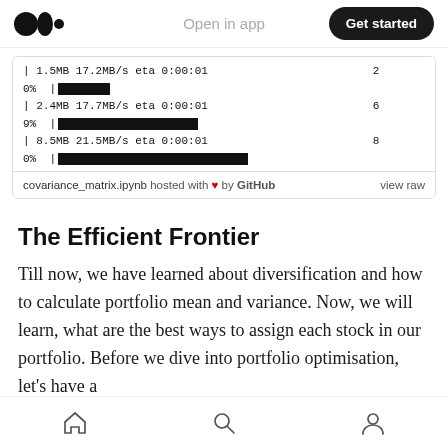Open in app | Get started
[Figure (screenshot): Terminal output showing download progress bars with speeds like 1.5MB 17.2MB/s eta 0:00:01, 2.4MB 17.7MB/s eta 0:00:01, 8.5MB 21.5MB/s eta 0:00:01 with percentage indicators and black progress bars. Footer shows: covariance_matrix.ipynb hosted with ♥ by GitHub | view raw]
The Efficient Frontier
Till now, we have learned about diversification and how to calculate portfolio mean and variance. Now, we will learn, what are the best ways to assign each stock in our portfolio. Before we dive into portfolio optimisation, let's have a
Home | Search | Profile